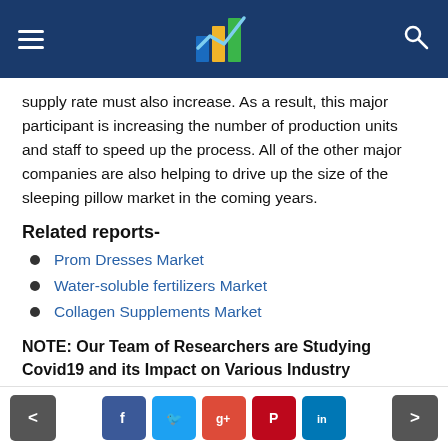[Navigation header with logo and search icon]
supply rate must also increase. As a result, this major participant is increasing the number of production units and staff to speed up the process. All of the other major companies are also helping to drive up the size of the sleeping pillow market in the coming years.
Related reports-
Prom Dresses Market
Water-soluble fertilizers Market
Collagen Supplements Market
NOTE: Our Team of Researchers are Studying Covid19 and its Impact on Various Industry
Navigation and social share buttons